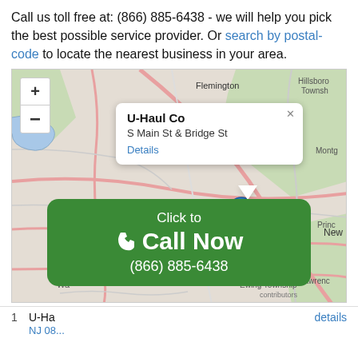Call us toll free at: (866) 885-6438 - we will help you pick the best possible service provider. Or search by postal-code to locate the nearest business in your area.
[Figure (map): Interactive map showing U-Haul Co location at S Main St & Bridge St near New Hope, NJ area with zoom controls and a popup info window. A green 'Click to Call Now (866) 885-6438' button overlay at bottom.]
1  U-Haul Co  NJ 08...  details